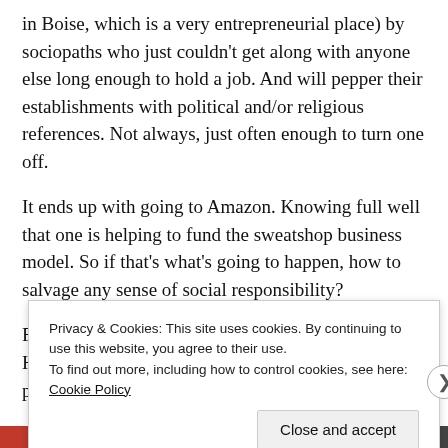in Boise, which is a very entrepreneurial place) by sociopaths who just couldn't get along with anyone else long enough to hold a job. And will pepper their establishments with political and/or religious references. Not always, just often enough to turn one off.
It ends up with going to Amazon. Knowing full well that one is helping to fund the sweatshop business model. So if that's what's going to happen, how to salvage any sense of social responsibility?
For me, it's about convenience rather than price. Here's one thing you can do. Amazon will still get paid, but it will not
Privacy & Cookies: This site uses cookies. By continuing to use this website, you agree to their use.
To find out more, including how to control cookies, see here: Cookie Policy
Close and accept